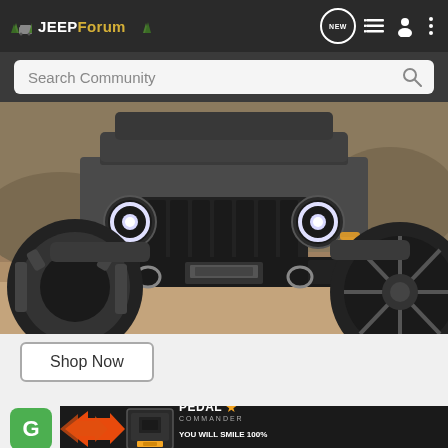JEEPForum
Search Community
[Figure (photo): Front view of a dark gray Jeep Wrangler with aftermarket front bumper, winch, and off-road tires on a dirt/gravel terrain. The Jeep has round LED headlights and a classic seven-slot grille.]
Shop Now
[Figure (infographic): Advertisement banner for Pedal Commander showing orange/black arrows graphic, a device, PEDAL COMMANDER logo with star, and text YOU WILL SMILE 100% WITH PEDAL COMMANDER in white and orange.]